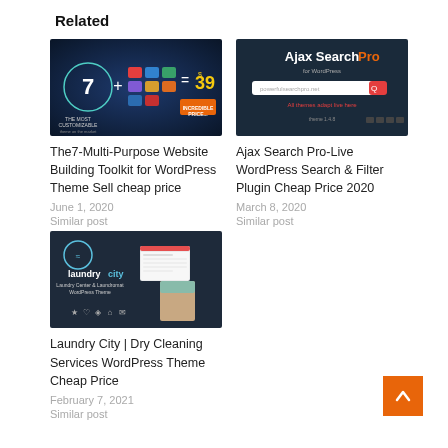Related
[Figure (screenshot): The7 Multi-Purpose Website Building Toolkit product image with dark blue background showing price $39]
The7-Multi-Purpose Website Building Toolkit for WordPress Theme Sell cheap price
June 1, 2020
Similar post
[Figure (screenshot): Ajax Search Pro for WordPress plugin screenshot with dark navy background and search bar]
Ajax Search Pro-Live WordPress Search & Filter Plugin Cheap Price 2020
March 8, 2020
Similar post
[Figure (screenshot): Laundry City WordPress theme screenshot with dark background showing laundry center branding]
Laundry City | Dry Cleaning Services WordPress Theme Cheap Price
February 7, 2021
Similar post